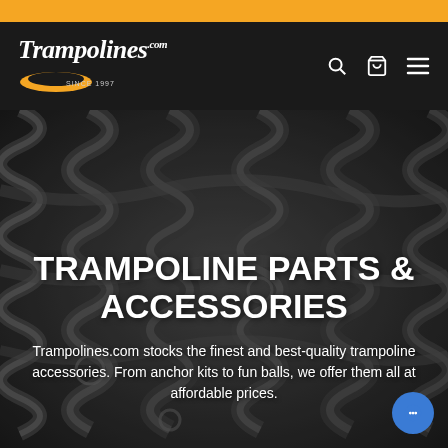[Figure (logo): Trampolines.com logo with orange oval trampoline graphic and 'SINCE 1997' tagline on dark navbar, with search, cart, and hamburger menu icons]
[Figure (photo): Close-up background photo of dark metallic coiled trampoline springs]
TRAMPOLINE PARTS & ACCESSORIES
Trampolines.com stocks the finest and best-quality trampoline accessories. From anchor kits to fun balls, we offer them all at affordable prices.